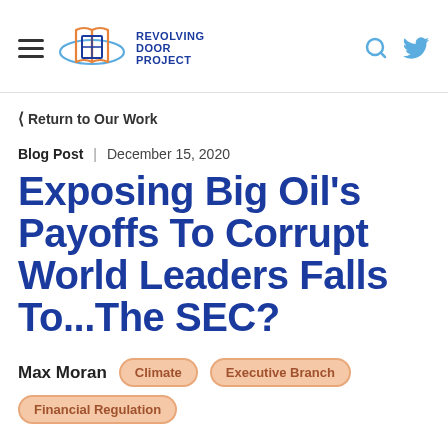Revolving Door Project
❮ Return to Our Work
Blog Post  |  December 15, 2020
Exposing Big Oil's Payoffs To Corrupt World Leaders Falls To...The SEC?
Max Moran
Climate
Executive Branch
Financial Regulation